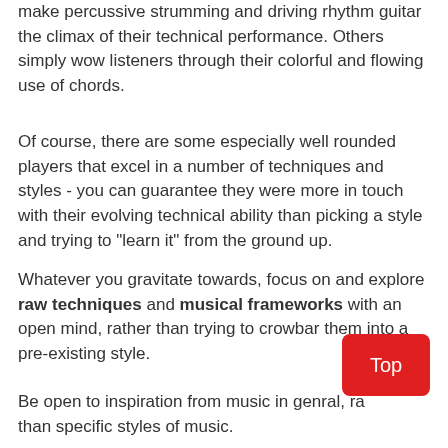make percussive strumming and driving rhythm guitar the climax of their technical performance. Others simply wow listeners through their colorful and flowing use of chords.
Of course, there are some especially well rounded players that excel in a number of techniques and styles - you can guarantee they were more in touch with their evolving technical ability than picking a style and trying to "learn it" from the ground up.
Whatever you gravitate towards, focus on and explore raw techniques and musical frameworks with an open mind, rather than trying to crowbar them into a pre-existing style.
Be open to inspiration from music in genral, ra... than specific styles of music.